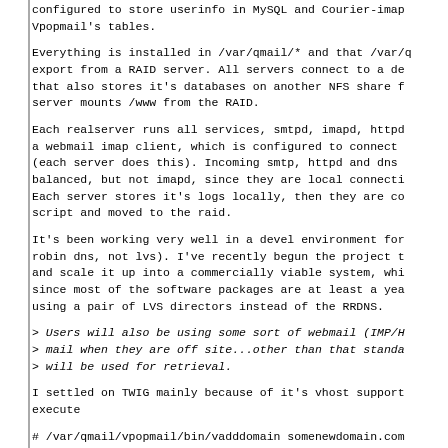configured to store userinfo in MySQL and Courier-imap using Vpopmail's tables.
Everything is installed in /var/qmail/* and that /var/q export from a RAID server. All servers connect to a de that also stores it's databases on another NFS share f server mounts /www from the RAID.
Each realserver runs all services, smtpd, imapd, httpd a webmail imap client, which is configured to connect (each server does this). Incoming smtp, httpd and dns balanced, but not imapd, since they are local connecti Each server stores it's logs locally, then they are co script and moved to the raid.
It's been working very well in a devel environment for robin dns, not lvs). I've recently begun the project t and scale it up into a commercially viable system, whi since most of the software packages are at least a yea using a pair of LVS directors instead of the RRDNS.
> Users will also be using some sort of webmail (IMP/H
> mail when they are off site...other than that standa
> will be used for retrieval.
I settled on TWIG mainly because of it's vhost support execute
# /var/qmail/vpopmail/bin/vadddomain somenewdomain.com